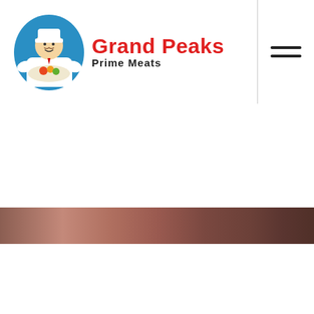[Figure (logo): Grand Peaks Prime Meats logo with chef illustration in blue circle and red brand name text]
[Figure (illustration): Dark copper/brown gradient banner strip]
[Figure (illustration): Dark gray footer section with small orange/red horizontal divider line]